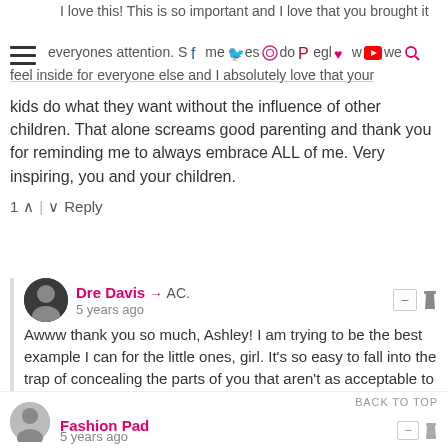I love this! This is so important and I love that you brought it everyones attention. Sometimes do neglect when we feel inside for everyone else and I absolutely love that your
kids do what they want without the influence of other children. That alone screams good parenting and thank you for reminding me to always embrace ALL of me. Very inspiring, you and your children.
1 ∧ | ∨ Reply
Dre Davis → AC.
5 years ago
Awww thank you so much, Ashley! I am trying to be the best example I can for the little ones, girl. It's so easy to fall into the trap of concealing the parts of you that aren't as acceptable to others, and it's a process I'm still working on to this day. I'm so glad you enjoyed reading and I appreciate you for stopping by, love! I hope you're having a beautiful weekend!
∧ | ∨ Reply
Fashion Pad
5 years ago
BACK TO TOP